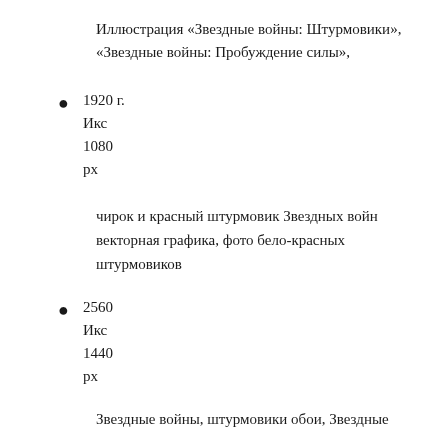Иллюстрация «Звездные войны: Штурмовики», «Звездные войны: Пробуждение силы»,
1920 г.
Икс
1080
рх
чирок и красный штурмовик Звездных войн векторная графика, фото бело-красных штурмовиков
2560
Икс
1440
рх
Звездные войны, штурмовики обои, Звездные